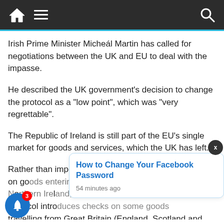Navigation bar with home, menu, and search icons
Irish Prime Minister Micheál Martin has called for negotiations between the UK and EU to deal with the impasse.
He described the UK government's decision to change the protocol as a "low point", which was "very regrettable".
The Republic of Ireland is still part of the EU's single market for goods and services, which the UK has left.
Rather than impose a hard border – involving checks on go... Northern Ire... protocol introduces checks on some goods travelling from Great Britain (England, Scotland and
[Figure (infographic): Popup notification card: 'How to Change Your Facebook Password' - 54 minutes ago, with close button X and blue notification bell with badge showing 3]